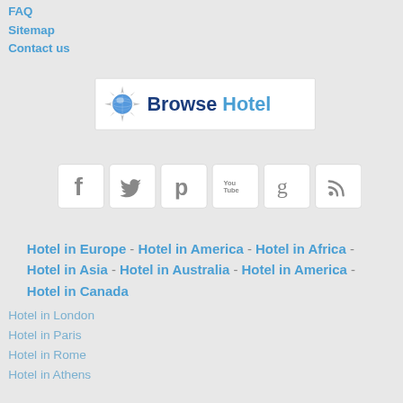FAQ
Sitemap
Contact us
[Figure (logo): Browse Hotel logo with globe/compass icon and text 'Browse Hotel']
[Figure (infographic): Social media icons: Facebook, Twitter, Pinterest, YouTube, Google+, RSS]
Hotel in Europe - Hotel in America - Hotel in Africa - Hotel in Asia - Hotel in Australia - Hotel in America - Hotel in Canada
Hotel in London
Hotel in Paris
Hotel in Rome
Hotel in Athens